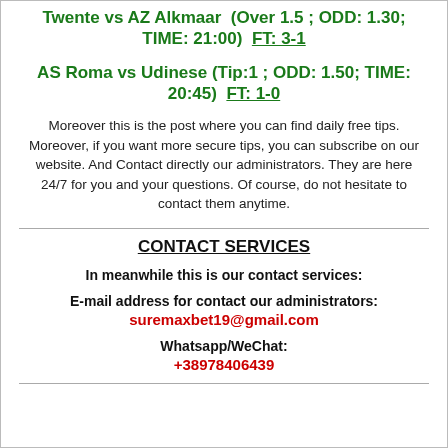Twente vs AZ Alkmaar  (Over 1.5 ; ODD: 1.30; TIME: 21:00)  FT: 3-1
AS Roma vs Udinese (Tip:1 ; ODD: 1.50; TIME: 20:45)  FT: 1-0
Moreover this is the post where you can find daily free tips. Moreover, if you want more secure tips, you can subscribe on our website. And Contact directly our administrators. They are here 24/7 for you and your questions. Of course, do not hesitate to contact them anytime.
CONTACT SERVICES
In meanwhile this is our contact services:
E-mail address for contact our administrators:
suremaxbet19@gmail.com
Whatsapp/WeChat:
+38978406439